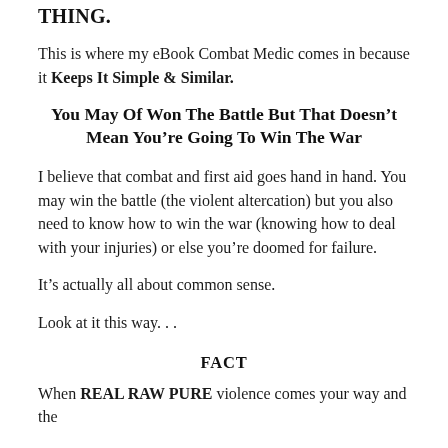THING.
This is where my eBook Combat Medic comes in because it Keeps It Simple & Similar.
You May Of Won The Battle But That Doesn't Mean You're Going To Win The War
I believe that combat and first aid goes hand in hand. You may win the battle (the violent altercation) but you also need to know how to win the war (knowing how to deal with your injuries) or else you're doomed for failure.
It's actually all about common sense.
Look at it this way. . .
FACT
When REAL RAW PURE violence comes your way and the